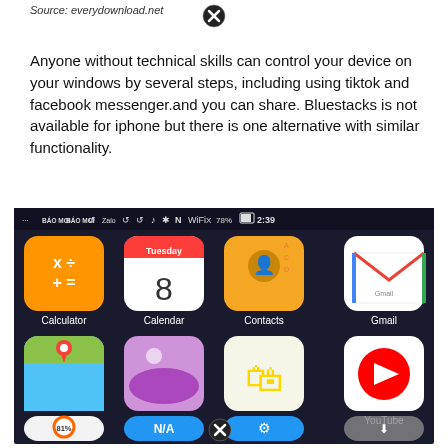Source: everydownload.net
[Figure (screenshot): Close/X button circle icon near top of page]
Anyone without technical skills can control your device on your windows by several steps, including using tiktok and facebook messenger.and you can share. Bluestacks is not available for iphone but there is one alternative with similar functionality.
[Figure (screenshot): Android phone screen showing app icons: Calculator, Calendar, Contacts, Gmail, Maps, Photos, Play Store, YouTube, and partial bottom row with battery widget (81%), N/A, Settings, and a download app. Status bar shows 78% battery, time 2:39, WiFi, and other icons.]
[Figure (screenshot): Close/X button circle icon near bottom of page]